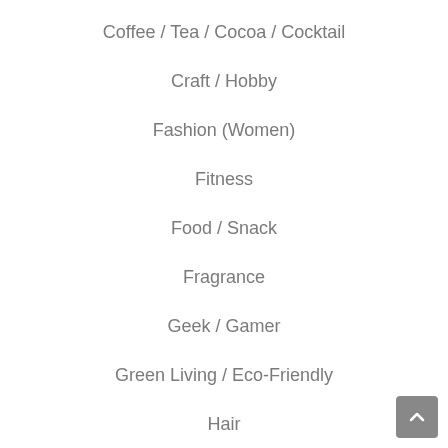Coffee / Tea / Cocoa / Cocktail
Craft / Hobby
Fashion (Women)
Fitness
Food / Snack
Fragrance
Geek / Gamer
Green Living / Eco-Friendly
Hair
Jewelry
Kids Clothing